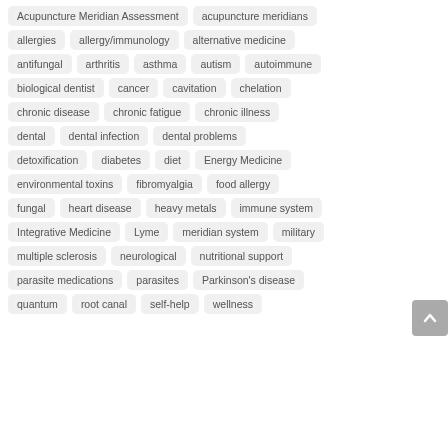Acupuncture Meridian Assessment
acupuncture meridians
allergies
allergy/immunology
alternative medicine
antifungal
arthritis
asthma
autism
autoimmune
biological dentist
cancer
cavitation
chelation
chronic disease
chronic fatigue
chronic illness
dental
dental infection
dental problems
detoxification
diabetes
diet
Energy Medicine
environmental toxins
fibromyalgia
food allergy
fungal
heart disease
heavy metals
immune system
Integrative Medicine
Lyme
meridian system
military
multiple sclerosis
neurological
nutritional support
parasite medications
parasites
Parkinson's disease
quantum
root canal
self-help
wellness